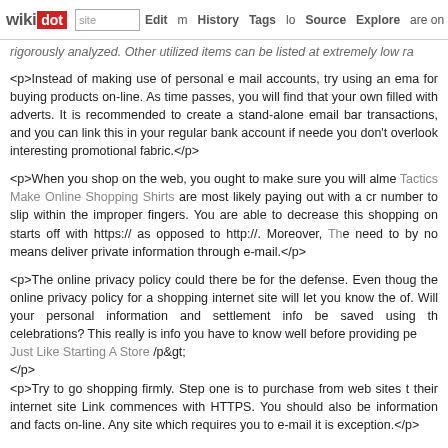wikidot | site Edit History Tags Source Explore Share on [twitter]
rigorously analyzed. Other utilized items can be listed at extremely low ra
<p>Instead of making use of personal e mail accounts, try using an ema for buying products on-line. As time passes, you will find that your own filled with adverts. It is recommended to create a stand-alone email bar transactions, and you can link this in your regular bank account if neede you don't overlook interesting promotional fabric.</p>
<p>When you shop on the web, you ought to make sure you will alm Tactics Make Online Shopping Shirts are most likely paying out with a cr number to slip within the improper fingers. You are able to decrease this shopping on starts off with https:// as opposed to http://. Moreover, Th need to by no means deliver private information through e-mail.</p>
<p>The online privacy policy could there be for the defense. Even thoug the online privacy policy for a shopping internet site will let you know the of. Will your personal information and settlement info be saved using th celebrations? This really is info you have to know well before providing pe Just Like Starting A Store /p&gt;
</p>
<p>Try to go shopping firmly. Step one is to purchase from web sites t their internet site Link commences with HTTPS. You should also be information and facts on-line. Any site which requires you to e-mail it is exception.</p>
<p>In conclusion, there are several items to know and comprehend abou clicking apart. Reading this informative article, you will be knowledgeable store shopping in the comfort of your property. So, get a cup of coffee decline!</p>